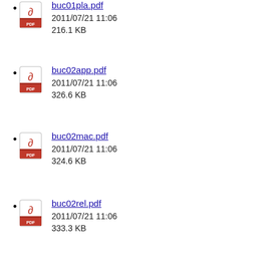buc01pla.pdf
2011/07/21 11:06
216.1 KB
buc02app.pdf
2011/07/21 11:06
326.6 KB
buc02mac.pdf
2011/07/21 11:06
324.6 KB
buc02rel.pdf
2011/07/21 11:06
333.3 KB